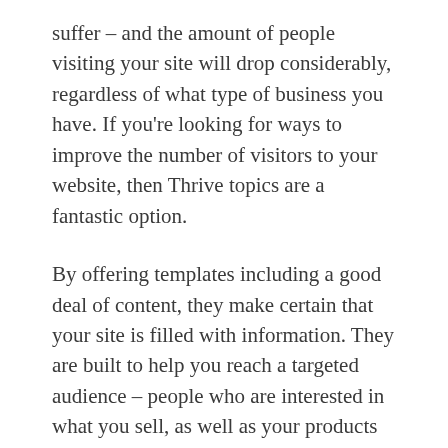suffer – and the amount of people visiting your site will drop considerably, regardless of what type of business you have. If you're looking for ways to improve the number of visitors to your website, then Thrive topics are a fantastic option.
By offering templates including a good deal of content, they make certain that your site is filled with information. They are built to help you reach a targeted audience – people who are interested in what you sell, as well as your products and services. Whether you are selling anything or are looking for a place to publish your work, this will make the process much simpler.
When you wish to use Thrive themes to make your website stand out in the audience, then you